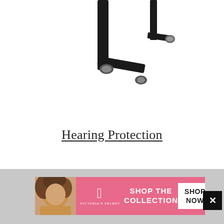[Figure (photo): Partial product image of black metal hardware pieces (appears to be parts of a shooting/gun accessory or similar hardware), shown cropped at top of page on white background.]
Hearing Protection
[Figure (screenshot): Victoria's Secret advertisement banner with model photo on left, pink background, Victoria's Secret logo, 'SHOP THE COLLECTION' text, and 'SHOP NOW' button. A close/dismiss button (X) is on the far right.]